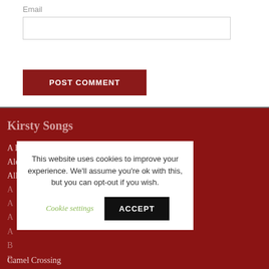Email
POST COMMENT
Kirsty Songs
A Boy Like That
Alegria
All I Ever Wanted
Camel Crossing
This website uses cookies to improve your experience. We'll assume you're ok with this, but you can opt-out if you wish.
Cookie settings
ACCEPT